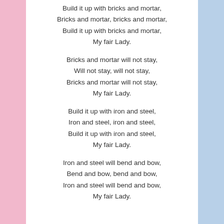Build it up with bricks and mortar,
Bricks and mortar, bricks and mortar,
Build it up with bricks and mortar,
My fair Lady.
Bricks and mortar will not stay,
Will not stay, will not stay,
Bricks and mortar will not stay,
My fair Lady.
Build it up with iron and steel,
Iron and steel, iron and steel,
Build it up with iron and steel,
My fair Lady.
Iron and steel will bend and bow,
Bend and bow, bend and bow,
Iron and steel will bend and bow,
My fair Lady.